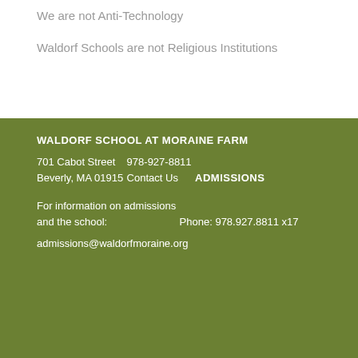We are not Anti-Technology
Waldorf Schools are not Religious Institutions
WALDORF SCHOOL AT MORAINE FARM
701 Cabot Street
Beverly, MA 01915
978-927-8811
Contact Us
ADMISSIONS
For information on admissions and the school:
Phone: 978.927.8811 x17
admissions@waldorfmoraine.org